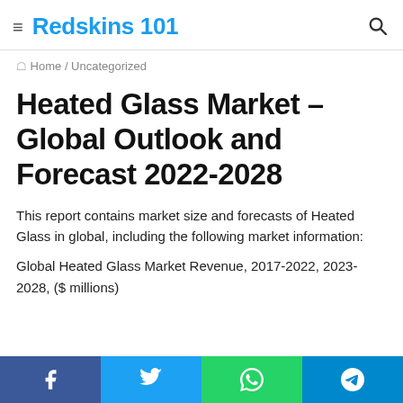Redskins 101
Home / Uncategorized
Heated Glass Market – Global Outlook and Forecast 2022-2028
This report contains market size and forecasts of Heated Glass in global, including the following market information:
Global Heated Glass Market Revenue, 2017-2022, 2023-2028, ($ millions)